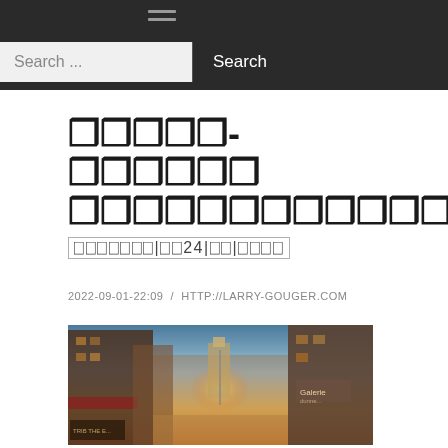Search ... Search
????? - ?????? ???????????? ???????|??24|??|????
2022-09-01-22:09 / HTTP://LARRY-GOUGER.COM
[Figure (photo): Street scene at sunset with tall buildings on both sides and a bright orange/yellow light in the background, possibly a church tower or similar structure. Signs visible including 'Galerie' text on right side.]